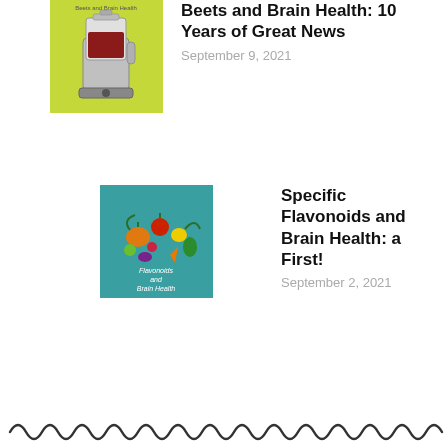[Figure (illustration): Thumbnail image of a blender with red contents on a yellow-green background, with text 'Beets and Brain Health' at the top]
Beets and Brain Health: 10 Years of Great News
September 9, 2021
[Figure (illustration): Thumbnail image of colorful fruits and vegetables arranged in an arc on a teal background, with text 'Flavonoids and Brain Health']
Specific Flavonoids and Brain Health: a First!
September 2, 2021
[Figure (illustration): Decorative wavy cursive line pattern at the bottom of the page]